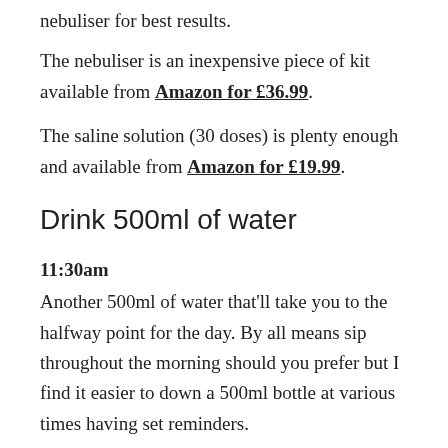nebuliser for best results.
The nebuliser is an inexpensive piece of kit available from Amazon for £36.99.
The saline solution (30 doses) is plenty enough and available from Amazon for £19.99.
Drink 500ml of water
11:30am
Another 500ml of water that'll take you to the halfway point for the day. By all means sip throughout the morning should you prefer but I find it easier to down a 500ml bottle at various times having set reminders.